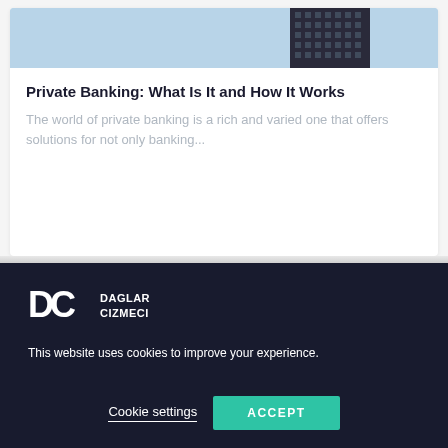[Figure (photo): Building/skyscraper photo with light blue sky background, showing a dark glass office tower on the right side]
Private Banking: What Is It and How It Works
The world of private banking is a rich and varied one that offers solutions for not only banking...
[Figure (logo): DC Daglar Cizmeci logo - white DC monogram with company name text]
This website uses cookies to improve your experience.
Cookie settings
ACCEPT